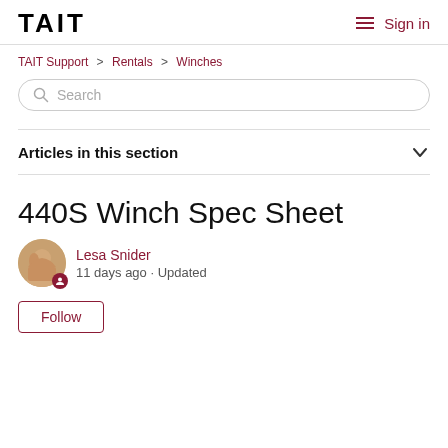TAIT | Sign in
TAIT Support > Rentals > Winches
Search
Articles in this section
440S Winch Spec Sheet
Lesa Snider
11 days ago · Updated
Follow